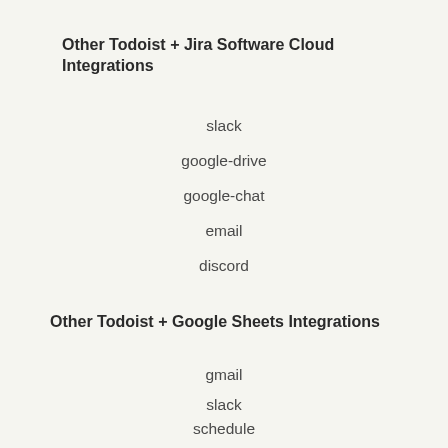Other Todoist + Jira Software Cloud Integrations
slack
google-drive
google-chat
email
discord
Other Todoist + Google Sheets Integrations
gmail
slack
schedule
google-forms